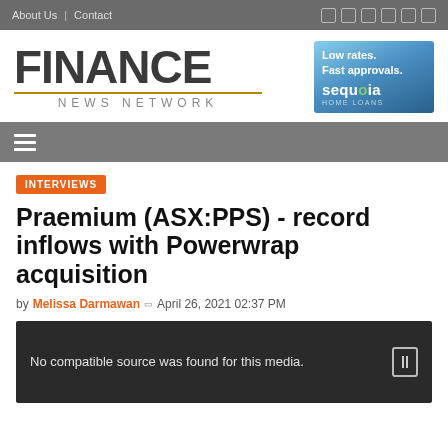About Us | Contact
FINANCE NEWS NETWORK
[Figure (illustration): Sequoia home loans advertisement banner: Low rates. Fast approvals. sequoia HOME LOANS]
☰ (hamburger menu)
INTERVIEWS
Praemium (ASX:PPS) - record inflows with Powerwrap acquisition
by Melissa Darmawan  April 26, 2021 02:37 PM
[Figure (screenshot): Video placeholder: No compatible source was found for this media.]